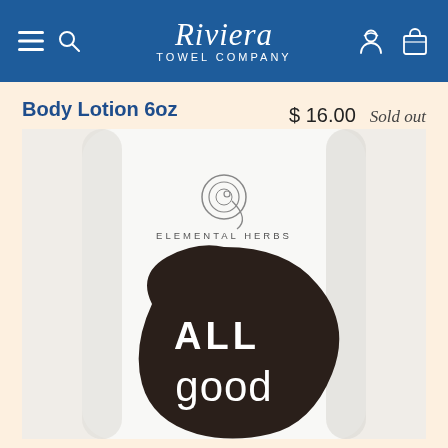Riviera Towel Company
Body Lotion 6oz
$ 16.00  Sold out
[Figure (photo): Product photo of All Good Body Lotion 6oz by Elemental Herbs. White squeeze bottle/pouch with the Elemental Herbs spiral logo at top, text ELEMENTAL HERBS, and a large dark brown/black leaf shape with ALL good written in white letters.]